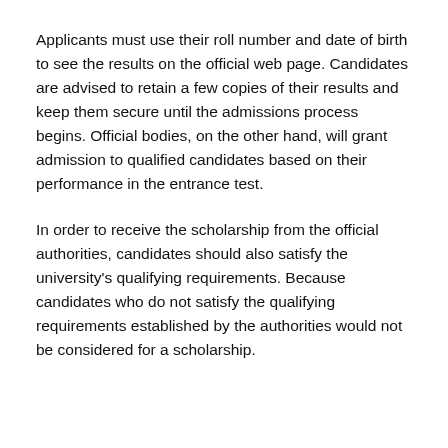Applicants must use their roll number and date of birth to see the results on the official web page. Candidates are advised to retain a few copies of their results and keep them secure until the admissions process begins. Official bodies, on the other hand, will grant admission to qualified candidates based on their performance in the entrance test.
In order to receive the scholarship from the official authorities, candidates should also satisfy the university's qualifying requirements. Because candidates who do not satisfy the qualifying requirements established by the authorities would not be considered for a scholarship.